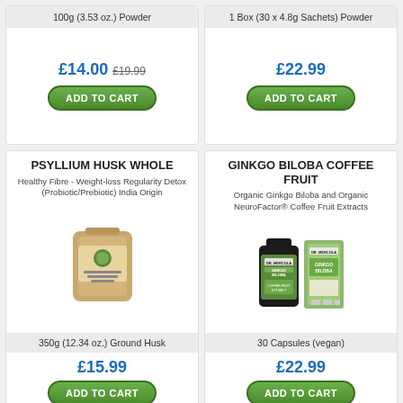100g (3.53 oz.) Powder
£14.00 £19.99
ADD TO CART
1 Box (30 x 4.8g Sachets) Powder
£22.99
ADD TO CART
PSYLLIUM HUSK WHOLE
Healthy Fibre - Weight-loss Regularity Detox (Probiotic/Prebiotic) India Origin
[Figure (photo): Psyllium Husk Whole product bag]
350g (12.34 oz.) Ground Husk
£15.99
ADD TO CART
GINKGO BILOBA COFFEE FRUIT
Organic Ginkgo Biloba and Organic NeuroFactor® Coffee Fruit Extracts
[Figure (photo): Dr. Mercola Ginkgo Biloba bottle and box]
30 Capsules (vegan)
£22.99
ADD TO CART